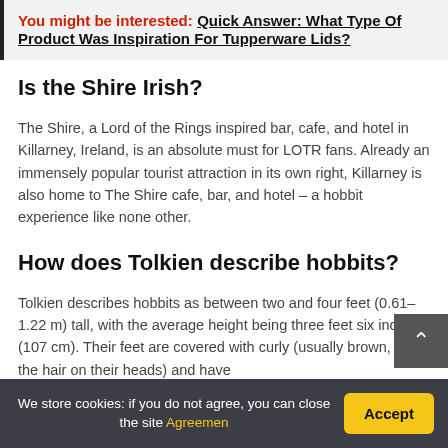You might be interested: Quick Answer: What Type Of Product Was Inspiration For Tupperware Lids?
Is the Shire Irish?
The Shire, a Lord of the Rings inspired bar, cafe, and hotel in Killarney, Ireland, is an absolute must for LOTR fans. Already an immensely popular tourist attraction in its own right, Killarney is also home to The Shire cafe, bar, and hotel – a hobbit experience like none other.
How does Tolkien describe hobbits?
Tolkien describes hobbits as between two and four feet (0.61–1.22 m) tall, with the average height being three feet six inches (107 cm). Their feet are covered with curly (usually brown, as is the hair on their heads) and have
We store cookies: if you do not agree, you can close the site Agreemen